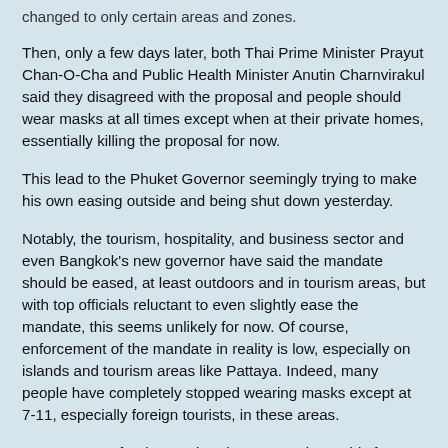changed to only certain areas and zones.
Then, only a few days later, both Thai Prime Minister Prayut Chan-O-Cha and Public Health Minister Anutin Charnvirakul said they disagreed with the proposal and people should wear masks at all times except when at their private homes, essentially killing the proposal for now.
This lead to the Phuket Governor seemingly trying to make his own easing outside and being shut down yesterday.
Notably, the tourism, hospitality, and business sector and even Bangkok's new governor have said the mandate should be eased, at least outdoors and in tourism areas, but with top officials reluctant to even slightly ease the mandate, this seems unlikely for now. Of course, enforcement of the mandate in reality is low, especially on islands and tourism areas like Pattaya. Indeed, many people have completely stopped wearing masks except at 7-11, especially foreign tourists, in these areas.
However, to a foreign tourist who may not know this fact or do research, all they may see is the country still has an outdoor mandate and may as a result choose a different holiday destination. Of course, the back and forth flip flopping won't help anyone.
Now, of course, even if the mandate was lifted one could still wear a mask if they chose. I support everyone's choice to do so and am a fan of